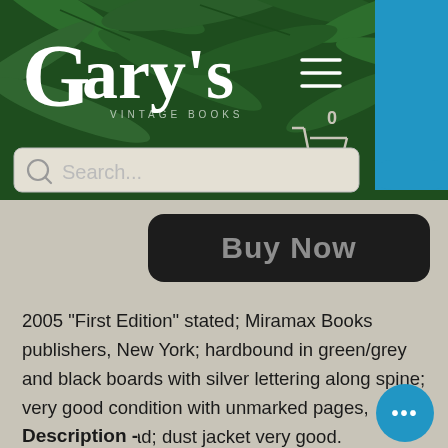[Figure (screenshot): Gary's Vintage Books website header with dark green tropical fern background, white serif logo reading "Gary's Vintage Books", hamburger menu icon, blue rectangle tab on right side, shopping cart icon with 0 badge, and search bar reading "Search..."]
[Figure (screenshot): Dark rounded "Buy Now" button overlapping header and content area]
2005 "First Edition" stated; Miramax Books publishers, New York; hardbound in green/grey and black boards with silver lettering along spine; very good condition with unmarked pages, appears unread; dust jacket very good.
Description -